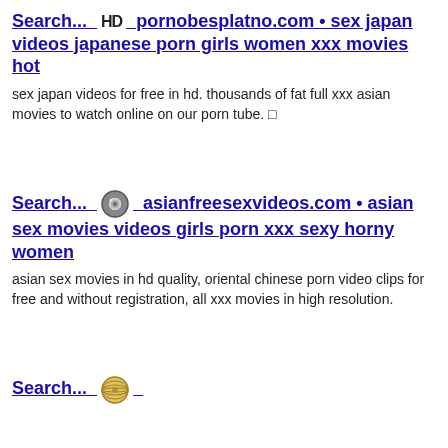Search... HD pornobesplatno.com • sex japan videos japanese porn girls women xxx movies hot
sex japan videos for free in hd. thousands of fat full xxx asian movies to watch online on our porn tube. 🔲
Search... asianfreesexvideos.com • asian sex movies videos girls porn xxx sexy horny women
asian sex movies in hd quality, oriental chinese porn video clips for free and without registration, all xxx movies in high resolution.
Search... [icon] [url] • free...